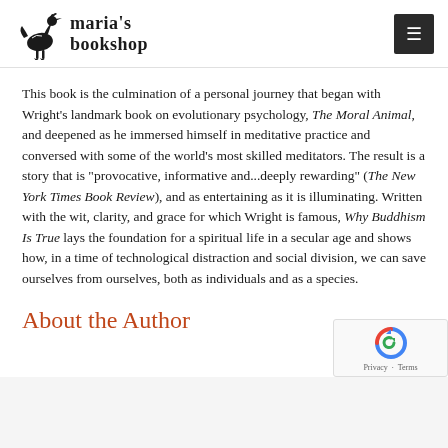Maria's Bookshop
This book is the culmination of a personal journey that began with Wright's landmark book on evolutionary psychology, The Moral Animal, and deepened as he immersed himself in meditative practice and conversed with some of the world's most skilled meditators. The result is a story that is "provocative, informative and...deeply rewarding" (The New York Times Book Review), and as entertaining as it is illuminating. Written with the wit, clarity, and grace for which Wright is famous, Why Buddhism Is True lays the foundation for a spiritual life in a secular age and shows how, in a time of technological distraction and social division, we can save ourselves from ourselves, both as individuals and as a species.
About the Author